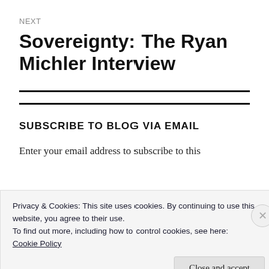NEXT
Sovereignty: The Ryan Michler Interview
SUBSCRIBE TO BLOG VIA EMAIL
Enter your email address to subscribe to this
Privacy & Cookies: This site uses cookies. By continuing to use this website, you agree to their use.
To find out more, including how to control cookies, see here:
Cookie Policy
Close and accept